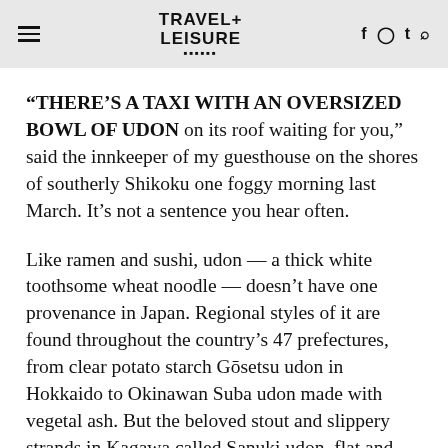TRAVEL+ LEISURE
“THERE’S A TAXI WITH AN OVERSIZED BOWL OF UDON on its roof waiting for you,” said the innkeeper of my guesthouse on the shores of southerly Shikoku one foggy morning last March. It’s not a sentence you hear often.
Like ramen and sushi, udon — a thick white toothsome wheat noodle — doesn’t have one provenance in Japan. Regional styles of it are found throughout the country’s 47 prefectures, from clear potato starch Gōsetsu udon in Hokkaido to Okinawan Suba udon made with vegetal ash. But the beloved stout and slippery strands in Kagawa called Sanuki udon, flat and square-cut with chewy texture, have Japanese origins dating back to the 9th century when the monk Kōbō Daishi returned to Shikoku from China and